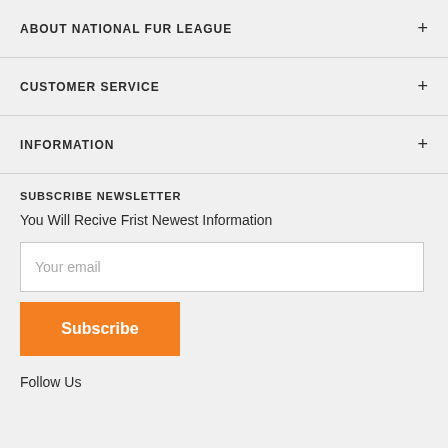ABOUT NATIONAL FUR LEAGUE
CUSTOMER SERVICE
INFORMATION
SUBSCRIBE NEWSLETTER
You Will Recive Frist Newest Information
Your email
Subscribe
Follow Us